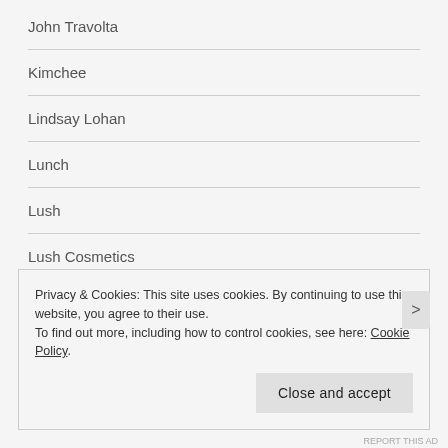John Travolta
Kimchee
Lindsay Lohan
Lunch
Lush
Lush Cosmetics
Lush Review
Privacy & Cookies: This site uses cookies. By continuing to use this website, you agree to their use.
To find out more, including how to control cookies, see here: Cookie Policy
REPORT THIS AD